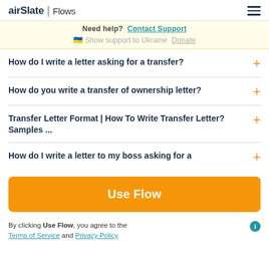airSlate | Flows
Need help? Contact Support
🇺🇦 Show support to Ukraine Donate
How do I write a letter asking for a transfer?
How do you write a transfer of ownership letter?
Transfer Letter Format | How To Write Transfer Letter? Samples ...
How do I write a letter to my boss asking for a
Use Flow
By clicking Use Flow, you agree to the Terms of Service and Privacy Policy